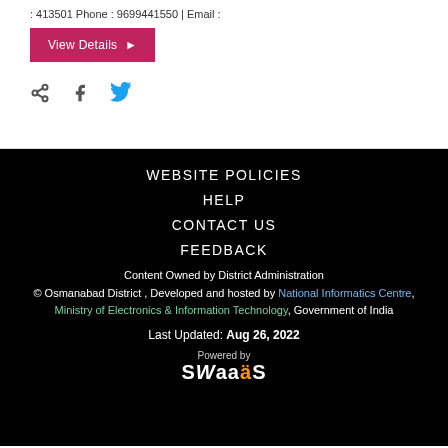: 413501 Phone : 9699441550 | Email :
[Figure (other): View Details button with right arrow, dark red/crimson background]
[Figure (other): Social share icons: share, Facebook, Twitter]
WEBSITE POLICIES
HELP
CONTACT US
FEEDBACK
Content Owned by District Administration
© Osmanabad District , Developed and hosted by National Informatics Centre,
Ministry of Electronics & Information Technology, Government of India
Last Updated: Aug 26, 2022
Powered by SWaaS